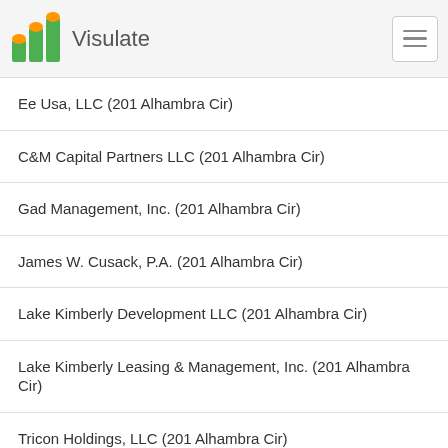Visulate
Ee Usa, LLC (201 Alhambra Cir)
C&M Capital Partners LLC (201 Alhambra Cir)
Gad Management, Inc. (201 Alhambra Cir)
James W. Cusack, P.A. (201 Alhambra Cir)
Lake Kimberly Development LLC (201 Alhambra Cir)
Lake Kimberly Leasing & Management, Inc. (201 Alhambra Cir)
Tricon Holdings, LLC (201 Alhambra Cir)
Beasley & Demos, LLC (201 Alhambra Cir)
Fipro Holdings, LLC (201 Alhambra Cir)
249 Artech Aventura LLC (201 Alhambra Cir)